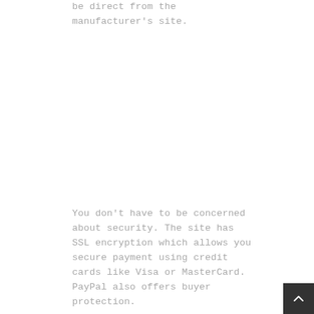be direct from the manufacturer's site.
You don't have to be concerned about security. The site has SSL encryption which allows you secure payment using credit cards like Visa or MasterCard. PayPal also offers buyer protection.